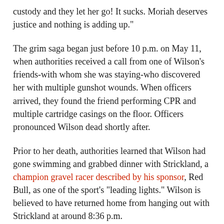custody and they let her go! It sucks. Moriah deserves justice and nothing is adding up."
The grim saga began just before 10 p.m. on May 11, when authorities received a call from one of Wilson's friends-with whom she was staying-who discovered her with multiple gunshot wounds. When officers arrived, they found the friend performing CPR and multiple cartridge casings on the floor. Officers pronounced Wilson dead shortly after.
Prior to her death, authorities learned that Wilson had gone swimming and grabbed dinner with Strickland, a champion gravel racer described by his sponsor, Red Bull, as one of the sport's "leading lights." Wilson is believed to have returned home from hanging out with Strickland at around 8:36 p.m.